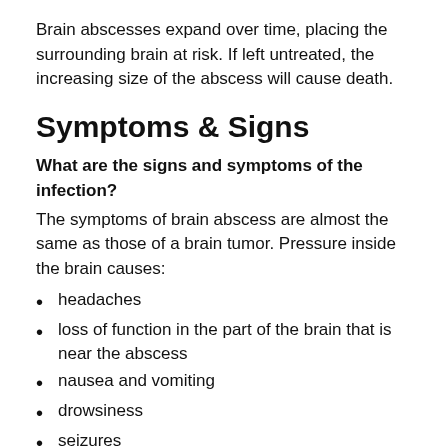Brain abscesses expand over time, placing the surrounding brain at risk. If left untreated, the increasing size of the abscess will cause death.
Symptoms & Signs
What are the signs and symptoms of the infection?
The symptoms of brain abscess are almost the same as those of a brain tumor. Pressure inside the brain causes:
headaches
loss of function in the part of the brain that is near the abscess
nausea and vomiting
drowsiness
seizures
changes in behavior